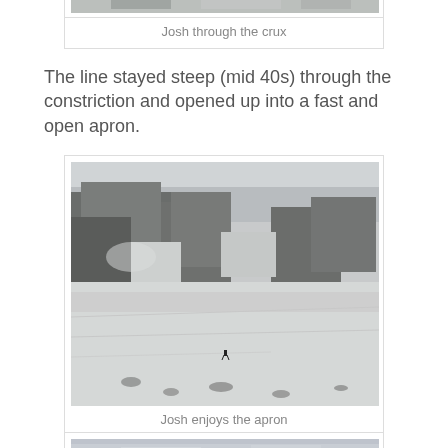[Figure (photo): Partial top of a photo showing snowy mountain crux scene (cropped at top of page)]
Josh through the crux
The line stayed steep (mid 40s) through the constriction and opened up into a fast and open apron.
[Figure (photo): Black and white photo of a skier (small figure) on a large open snowy apron below rocky cliffs. Josh enjoys the apron.]
Josh enjoys the apron
[Figure (photo): Partial photo of cloudy sky scene, cropped at bottom of page.]